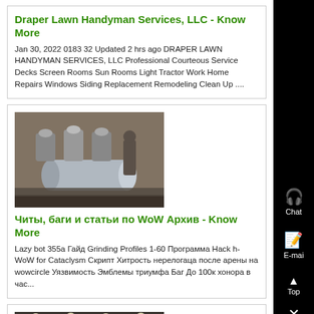Draper Lawn Handyman Services, LLC - Know More
Jan 30, 2022 0183 32 Updated 2 hrs ago DRAPER LAWN HANDYMAN SERVICES, LLC Professional Courteous Service Decks Screen Rooms Sun Rooms Light Tractor Work Home Repairs Windows Siding Replacement Remodeling Clean Up ....
[Figure (photo): Industrial machinery with metal rollers and cylindrical components]
Читы, баги и статьи по WoW Архив - Know More
Lazy bot 355а Гайд Grinding Profiles 1-60 Программа Hack h-WoW for Cataclysm Скрипт Хитрость нерелогаца после арены на wowcircle Уязвимость Эмблемы триумфа Баг До 100к хонора в час...
[Figure (photo): Industrial warehouse or factory interior with machinery and overhead lights]